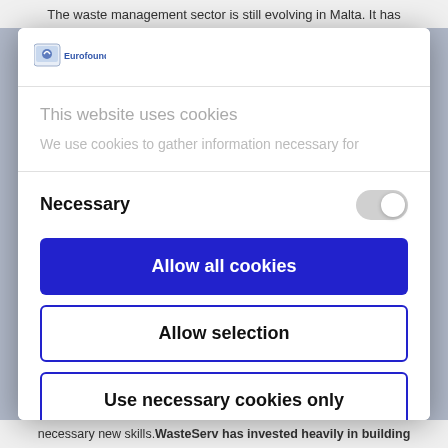The waste management sector is still evolving in Malta. It has
[Figure (logo): Eurofound logo - small blue icon with text Eurofound]
This website uses cookies
We use cookies to gather information necessary for
Necessary
Allow all cookies
Allow selection
Use necessary cookies only
Powered by Cookiebot by Usercentrics
necessary new skills. WasteServ has invested heavily in building